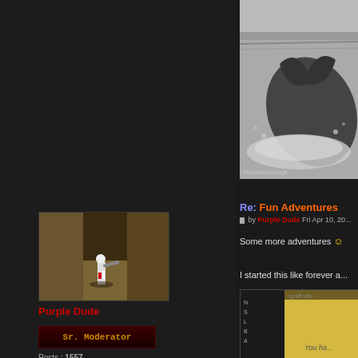[Figure (screenshot): Forum page screenshot showing user profile on left with avatar, username Purple Dude, Sr. Moderator rank badge, post stats. Right side shows whale photo and game post content.]
[Figure (photo): Black and white photo of a whale breaching the ocean surface with watermark headlikeanorange]
Re: Fun Adventures
by Purple Dude Fri Apr 10, 20...
Some more adventures
I started this like forever a...
[Figure (screenshot): In-game screenshot showing a game level with HUD elements, text You ha...]
[Figure (screenshot): Avatar image of Purple Dude showing a first-person shooter game scene]
Purple Dude
Sr. Moderator
Posts : 1557
Reputation : 109
Age : 29